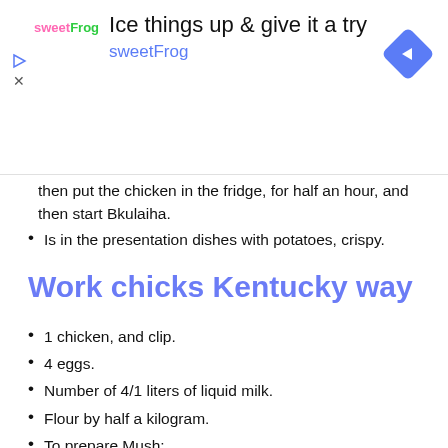[Figure (other): sweetFrog advertisement banner with logo, headline 'Ice things up & give it a try', brand name 'sweetFrog', and navigation arrow icon]
then put the chicken in the fridge, for half an hour, and then start Bkulaiha.
Is in the presentation dishes with potatoes, crispy.
Work chicks Kentucky way
1 chicken, and clip.
4 eggs.
Number of 4/1 liters of liquid milk.
Flour by half a kilogram.
To prepare Mush: